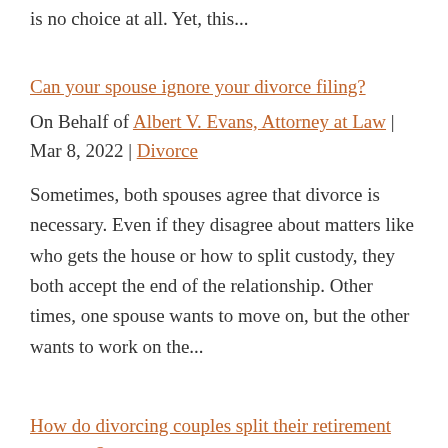is no choice at all. Yet, this...
Can your spouse ignore your divorce filing?
On Behalf of Albert V. Evans, Attorney at Law | Mar 8, 2022 | Divorce
Sometimes, both spouses agree that divorce is necessary. Even if they disagree about matters like who gets the house or how to split custody, they both accept the end of the relationship. Other times, one spouse wants to move on, but the other wants to work on the...
How do divorcing couples split their retirement accounts?